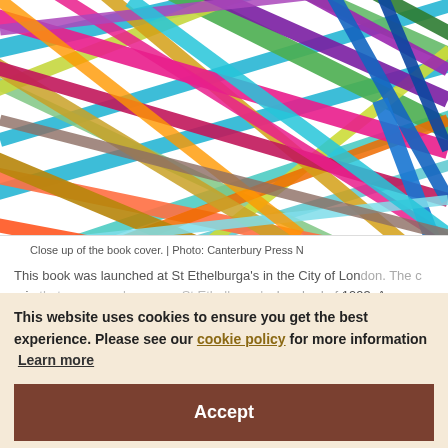[Figure (illustration): Close up of a book cover showing colorful overlapping diagonal stripes in various colors including blue, green, orange, pink, purple, teal, yellow, and red on a white background.]
Close up of the book cover. | Photo: Canterbury Press N
This book was launched at St Ethelburga's in the City of London. The c ruin that was once known as St Ethelburga's, bombed of 1993. As a cla change; spiritual Rea
This website uses cookies to ensure you get the best experience. Please see our cookie policy for more information Learn more
Accept
Silent school
7 Nov 2019 | by Jonathan Wooding
[Figure (photo): Bottom portion of a photograph, appears to show an outdoor scene.]